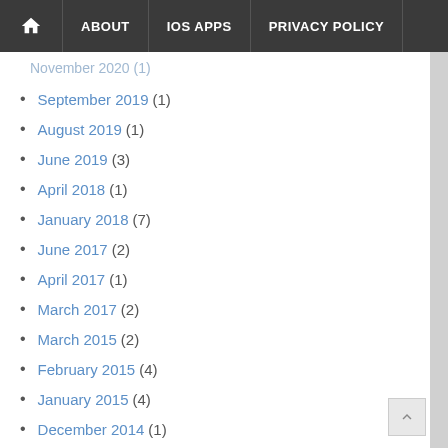Home | About | IOS Apps | Privacy Policy
November 2020 (1)
September 2019 (1)
August 2019 (1)
June 2019 (3)
April 2018 (1)
January 2018 (7)
June 2017 (2)
April 2017 (1)
March 2017 (2)
March 2015 (2)
February 2015 (4)
January 2015 (4)
December 2014 (1)
October 2014 (1)
April 2014 (1)